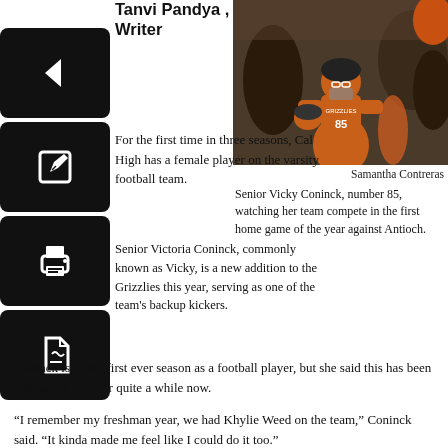Tanvi Pandya , Staff Writer
[Figure (photo): Senior Vicky Coninck wearing number 85 football jersey and helmet, standing on sidelines during game]
Samantha Contreras
Senior Vicky Coninck, number 85, watching her team compete in the first home game of the year against Antioch.
For the first time in three seasons, Cal High has a female player on the varsity football team.
Senior Victoria Coninck, commonly known as Vicky, is a new addition to the Grizzlies this year, serving as one of the team's backup kickers.
Coninck is in her first ever season as a football player, but she said this has been a dream of hers for quite a while now.
“I remember my freshman year, we had Khylie Weed on the team,” Coninck said. “It kinda made me feel like I could do it too.”
Though Coninck had never tried out for the football team  before, she wasn’t very nervous because she had been getting help from other football players she knew, one of them being senior Macray Madruga.